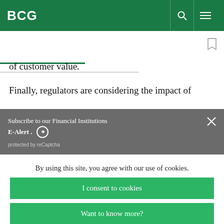BCG
of customer value.
Finally, regulators are considering the impact of
Subscribe to our Financial Institutions E-Alert . protected by reCaptcha
By using this site, you agree with our use of cookies.
I consent to cookies
Want to know more?
Read our Cookie Policy